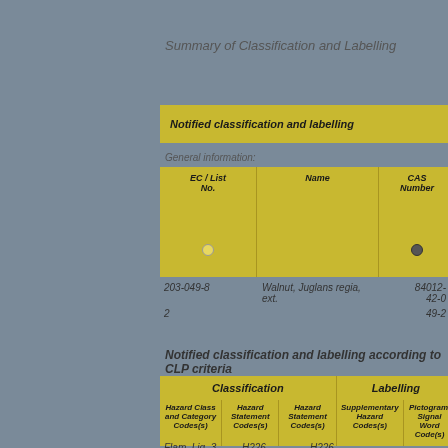Summary of Classification and Labelling
Notified classification and labelling
General information:
| EC / List No. | Name | CAS Number |
| --- | --- | --- |
| 203-049-8 | Walnut, Juglans regia, ext. | 84012-
42-0 |
| 2 |  | 49-2 |
Notified classification and labelling according to CLP criteria
| Classification |  |  | Labelling |  |
| --- | --- | --- | --- | --- |
| Hazard Class and Category Codes(s) | Hazard Statement Codes(s) | Hazard Statement Codes(s) | Supplementary Hazard Codes(s) | Pictogram, Signal Word Code(s) |
Flam. Liq. 3    H226    H226